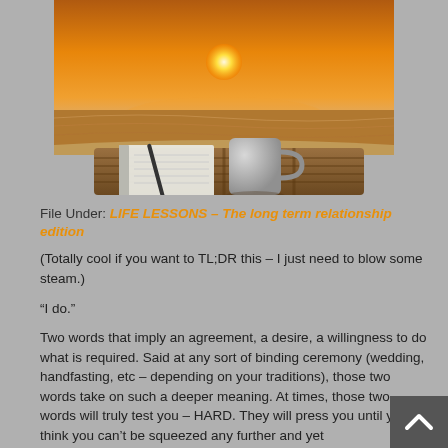[Figure (photo): A wooden tray on a table near a beach at sunset, with a gray coffee mug and a spiral notebook with a pen on top. The background shows an orange and golden sunset over the ocean.]
File Under: LIFE LESSONS – The long term relationship edition
(Totally cool if you want to TL;DR this – I just need to blow some steam.)
“I do.”
Two words that imply an agreement, a desire, a willingness to do what is required. Said at any sort of binding ceremony (wedding, handfasting, etc – depending on your traditions), those two words take on such a deeper meaning. At times, those two words will truly test you – HARD. They will press you until you think you can't be squeezed any further and yet